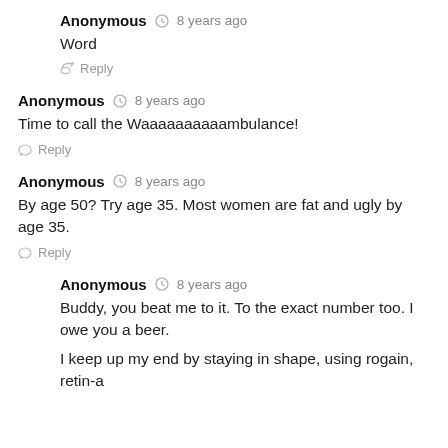Anonymous  8 years ago
Word
Reply
Anonymous  8 years ago
Time to call the Waaaaaaaaaambulance!
Reply
Anonymous  8 years ago
By age 50? Try age 35. Most women are fat and ugly by age 35.
Reply
Anonymous  8 years ago
Buddy, you beat me to it. To the exact number too. I owe you a beer.
I keep up my end by staying in shape, using rogain, retin-a